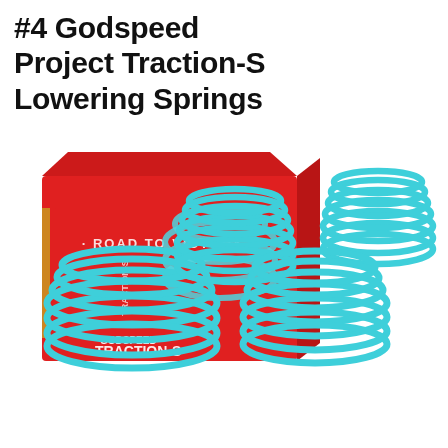#4 Godspeed Project Traction-S Lowering Springs
[Figure (photo): Product photo of Godspeed Project Traction-S Lowering Springs: four teal/light-blue coil springs arranged in front of and beside a bright red product box. The box reads 'ROAD TO VICTORY' and 'GODSPEED TRACTION-S RT SERIES' with a graphic of a coil spring on its face.]